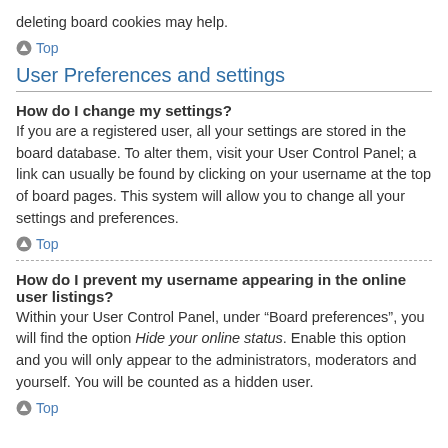deleting board cookies may help.
Top
User Preferences and settings
How do I change my settings?
If you are a registered user, all your settings are stored in the board database. To alter them, visit your User Control Panel; a link can usually be found by clicking on your username at the top of board pages. This system will allow you to change all your settings and preferences.
Top
How do I prevent my username appearing in the online user listings?
Within your User Control Panel, under “Board preferences”, you will find the option Hide your online status. Enable this option and you will only appear to the administrators, moderators and yourself. You will be counted as a hidden user.
Top